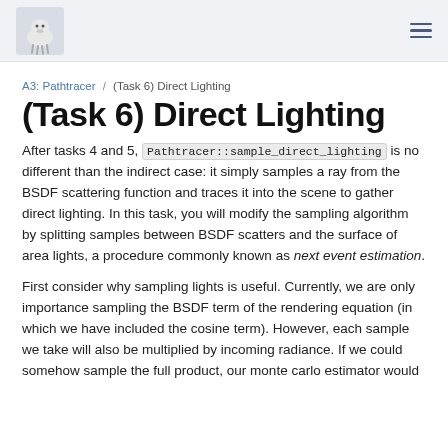A3: Pathtracer — (Task 6) Direct Lighting
A3: Pathtracer / (Task 6) Direct Lighting
(Task 6) Direct Lighting
After tasks 4 and 5, Pathtracer::sample_direct_lighting is no different than the indirect case: it simply samples a ray from the BSDF scattering function and traces it into the scene to gather direct lighting. In this task, you will modify the sampling algorithm by splitting samples between BSDF scatters and the surface of area lights, a procedure commonly known as next event estimation.
First consider why sampling lights is useful. Currently, we are only importance sampling the BSDF term of the rendering equation (in which we have included the cosine term). However, each sample we take will also be multiplied by incoming radiance. If we could somehow sample the full product, our monte carlo estimator would